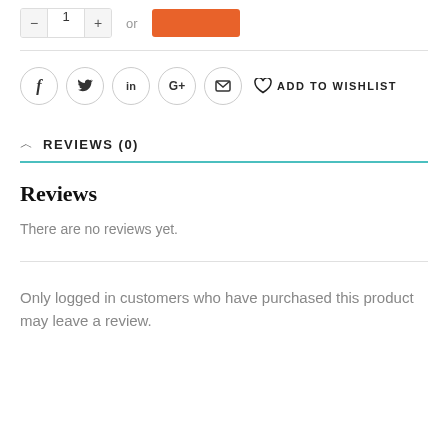[Figure (screenshot): Top partial UI row with quantity selector box (minus, number field, plus), 'or' text, and orange button partially visible]
[Figure (infographic): Social sharing icons row: Facebook (f), Twitter (bird), LinkedIn (in), Google+ (G+), Email (envelope), and Add to Wishlist (heart icon with text)]
REVIEWS (0)
Reviews
There are no reviews yet.
Only logged in customers who have purchased this product may leave a review.